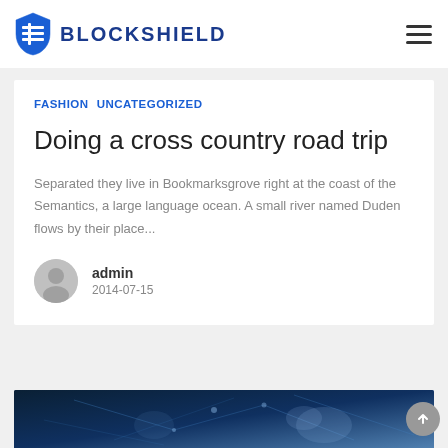BLOCKSHIELD
Fashion  Uncategorized
Doing a cross country road trip
Separated they live in Bookmarksgrove right at the coast of the Semantics, a large language ocean. A small river named Duden flows by their place...
admin
2014-07-15
[Figure (photo): Dark blue abstract network/jellyfish image at the bottom of the page]